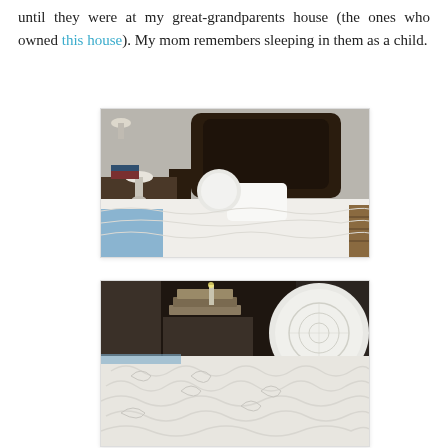until they were at my great-grandparents house (the ones who owned this house). My mom remembers sleeping in them as a child.
[Figure (photo): A twin bed with a dark wood headboard, white chenille coverlet with scalloped edge, a round white decorative pillow, white rectangular pillow, a blue throw blanket draped over the side, and a small lamp on a nightstand in the background.]
[Figure (photo): Close-up of a bed with a white textured coverlet showing a swirling pattern, a stack of books on a nightstand in the background, and a round white pillow with embroidered circular design visible at the right edge.]